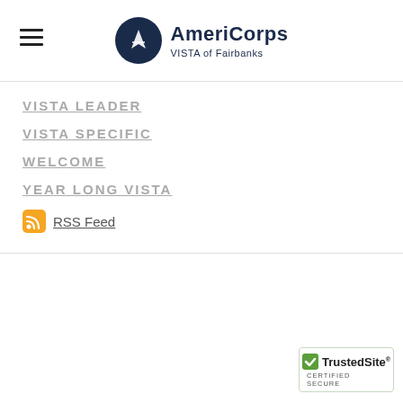AmeriCorps VISTA of Fairbanks
VISTA LEADER
VISTA SPECIFIC
WELCOME
YEAR LONG VISTA
RSS Feed
[Figure (logo): TrustedSite Certified Secure badge]